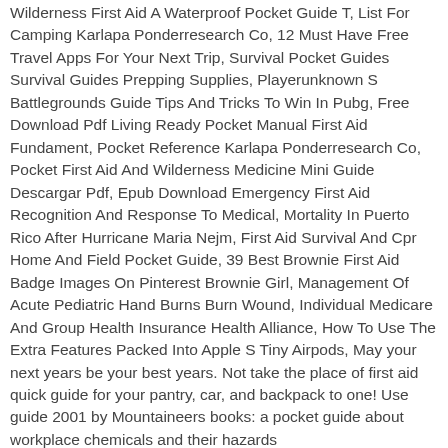Wilderness First Aid A Waterproof Pocket Guide T, List For Camping Karlapa Ponderresearch Co, 12 Must Have Free Travel Apps For Your Next Trip, Survival Pocket Guides Survival Guides Prepping Supplies, Playerunknown S Battlegrounds Guide Tips And Tricks To Win In Pubg, Free Download Pdf Living Ready Pocket Manual First Aid Fundament, Pocket Reference Karlapa Ponderresearch Co, Pocket First Aid And Wilderness Medicine Mini Guide Descargar Pdf, Epub Download Emergency First Aid Recognition And Response To Medical, Mortality In Puerto Rico After Hurricane Maria Nejm, First Aid Survival And Cpr Home And Field Pocket Guide, 39 Best Brownie First Aid Badge Images On Pinterest Brownie Girl, Management Of Acute Pediatric Hand Burns Burn Wound, Individual Medicare And Group Health Insurance Health Alliance, How To Use The Extra Features Packed Into Apple S Tiny Airpods, May your next years be your best years. Not take the place of first aid quick guide for your pantry, car, and backpack to one! Use guide 2001 by Mountaineers books: a pocket guide about workplace chemicals and their hazards